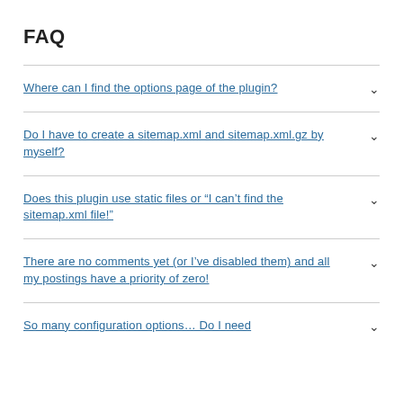FAQ
Where can I find the options page of the plugin?
Do I have to create a sitemap.xml and sitemap.xml.gz by myself?
Does this plugin use static files or “I can’t find the sitemap.xml file!”
There are no comments yet (or I’ve disabled them) and all my postings have a priority of zero!
So many configuration options… Do I need